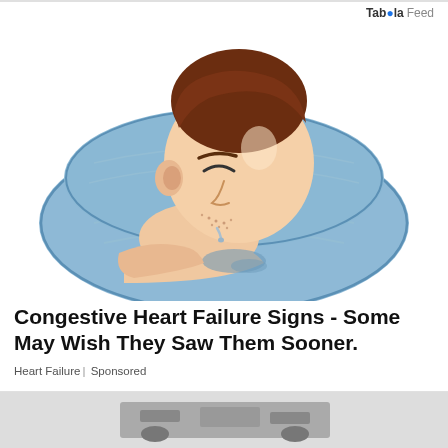Taboola Feed
[Figure (illustration): Illustration of a man sleeping on a blue pillow with drool coming from his mouth, suggesting a medical symptom of congestive heart failure]
Congestive Heart Failure Signs - Some May Wish They Saw Them Sooner.
Heart Failure | Sponsored
[Figure (photo): Partial image of another article at the bottom of the page, partially cropped]